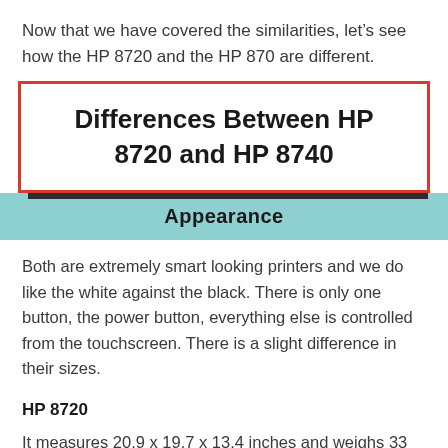Now that we have covered the similarities, let’s see how the HP 8720 and the HP 870 are different.
Differences Between HP 8720 and HP 8740
Appearance
Both are extremely smart looking printers and we do like the white against the black. There is only one button, the power button, everything else is controlled from the touchscreen. There is a slight difference in their sizes.
HP 8720
It measures 20.9 x 19.7 x 13.4 inches and weighs 33 pounds.